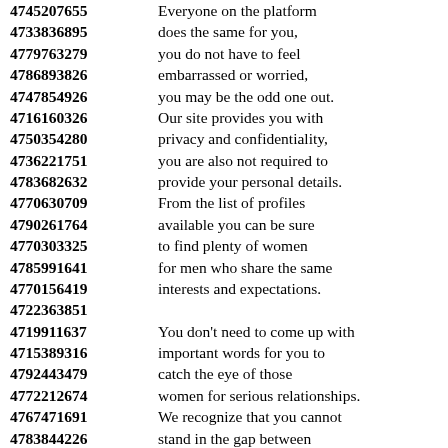4745207655 Everyone on the platform 4733836895 does the same for you, 4779763279 you do not have to feel 4786893826 embarrassed or worried, 4747854926 you may be the odd one out. 4716160326 Our site provides you with 4750354280 privacy and confidentiality, 4736221751 you are also not required to 4783682632 provide your personal details. 4770630709 From the list of profiles 4790261764 available you can be sure 4770303325 to find plenty of women 4785991641 for men who share the same 4770156419 interests and expectations. 4722363851 4719911637 You don't need to come up with 4715389316 important words for you to 4792443479 catch the eye of those 4772212674 women for serious relationships. 4767471691 We recognize that you cannot 4783844226 stand in the gap between 4742486302 hundreds of women and girls 4744921436 as you look for your dream. 4781433959 If you are a man seeking a 4720453279 single women near you, 4752375551 online dating sites can help you.